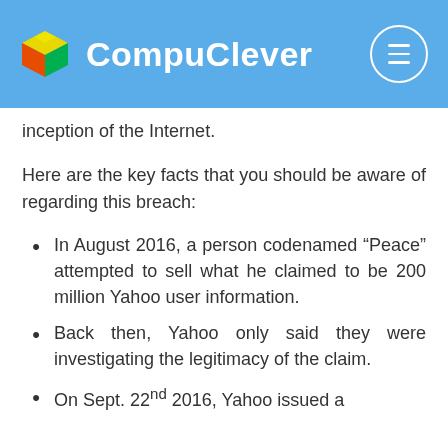CompuClever
inception of the Internet.
Here are the key facts that you should be aware of regarding this breach:
In August 2016, a person codenamed “Peace” attempted to sell what he claimed to be 200 million Yahoo user information.
Back then, Yahoo only said they were investigating the legitimacy of the claim.
On Sept. 22nd 2016, Yahoo issued a